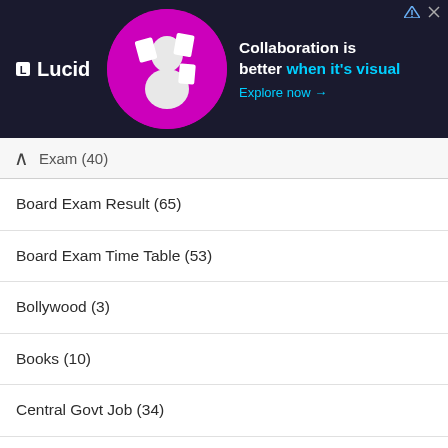[Figure (infographic): Lucid advertisement banner with dark background, magenta circle with person image, text 'Collaboration is better when it's visual' with 'Explore now' link]
Exam (40)
Board Exam Result (65)
Board Exam Time Table (53)
Bollywood (3)
Books (10)
Central Govt Job (34)
Corona Sahayata (16)
Counselling (38)
COVID-19 (17)
CTET Exam (3)
Cut off Marks (755)